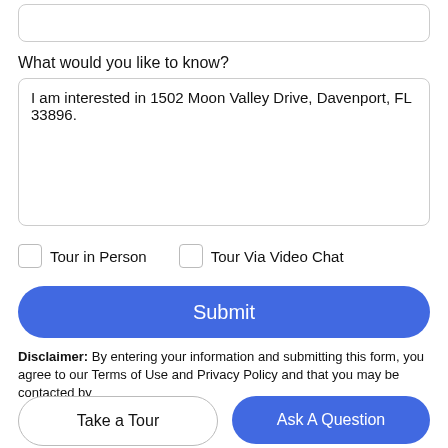[Figure (screenshot): Top partial input box (cropped at top of page)]
What would you like to know?
I am interested in 1502 Moon Valley Drive, Davenport, FL 33896.
Tour in Person
Tour Via Video Chat
Submit
Disclaimer: By entering your information and submitting this form, you agree to our Terms of Use and Privacy Policy and that you may be contacted by
Take a Tour
Ask A Question